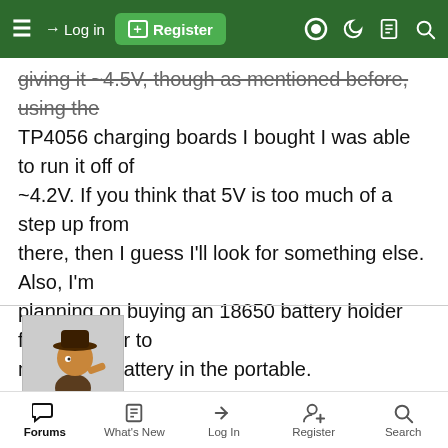≡  Log in  Register
giving it ~4.5V, though as mentioned before, using the TP4056 charging boards I bought I was able to run it off of ~4.2V. If you think that 5V is too much of a step up from there, then I guess I'll look for something else. Also, I'm planning on buying an 18650 battery holder from Mouser to mount the battery in the portable.
Last edited: May 29, 2020
[Figure (illustration): User avatar image showing a cartoon character (game sprite) crouching/running, within a square frame]
vikMKW
member
Forums  What's New  Log In  Register  Search